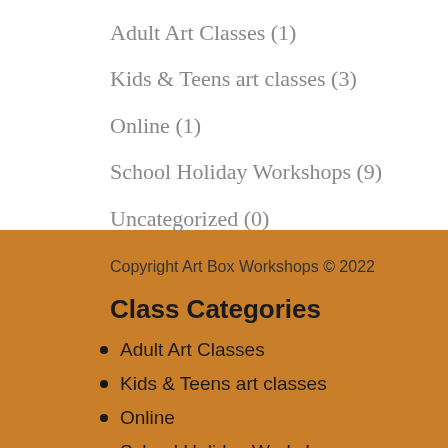Adult Art Classes (1)
Kids & Teens art classes (3)
Online (1)
School Holiday Workshops (9)
Uncategorized (0)
Copyright Art Box Workshops © 2022
Class Categories
Adult Art Classes
Kids & Teens art classes
Online
School Holiday Workshops